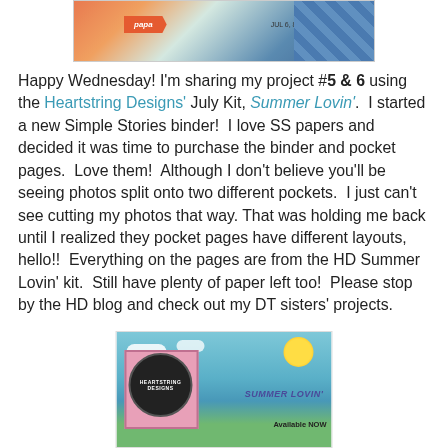[Figure (photo): Top decorative scrapbook banner image with orange arrow banner, diagonal blue stripes, and date text]
Happy Wednesday! I'm sharing my project #5 & 6 using the Heartstring Designs' July Kit, Summer Lovin'. I started a new Simple Stories binder! I love SS papers and decided it was time to purchase the binder and pocket pages. Love them! Although I don't believe you'll be seeing photos split onto two different pockets. I just can't see cutting my photos that way. That was holding me back until I realized they pocket pages have different layouts, hello!! Everything on the pages are from the HD Summer Lovin' kit. Still have plenty of paper left too! Please stop by the HD blog and check out my DT sisters' projects.
[Figure (photo): Heartstring Designs Summer Lovin' kit advertisement banner with cartoon character, logo circle, sky background with sun and clouds, and 'Available NOW' text]